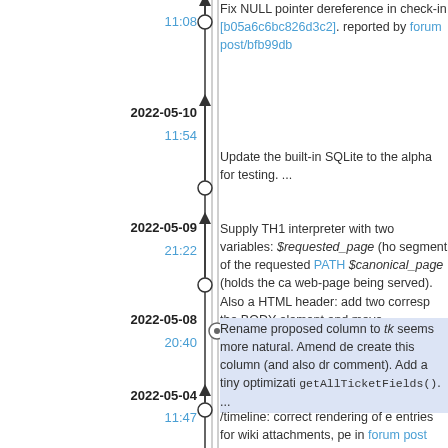11:08
Fix NULL pointer dereference in check-in [b05a6c6bc826d3c2]. reported by forum post/bfb99db
2022-05-10
11:54
Update the built-in SQLite to the alpha for testing. ...
2022-05-09
21:22
Supply TH1 interpreter with two variables: $requested_page (holds the segment of the requested PATH), $canonical_page (holds the canonical web-page being served). Also add HTML header: add two corresponding the BODY element and move <charset="UTF-8"> to the top.
2022-05-08
20:40
Rename proposed column to tk seems more natural. Amend delete to create this column (and also dr comment). Add a tiny optimization getAllTicketFields(). ...
2022-05-04
11:47
/timeline: correct rendering of entries for wiki attachments, pe in forum post 749baecf6d08e